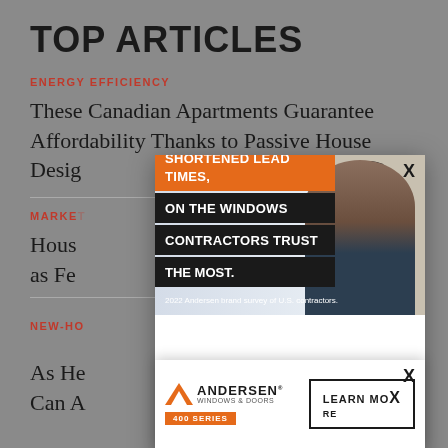TOP ARTICLES
ENERGY EFFICIENCY
These Canadian Apartments Guarantee Affordability Thanks to Passive House Design
MARKET
House ... point as Fe...
NEW-HO
As He... Who Can A...
[Figure (photo): Advertisement overlay for Andersen Windows & Doors 400 Series. Shows a contractor woman smiling. Text reads: SHORTENED LEAD TIMES, ON THE WINDOWS CONTRACTORS TRUST THE MOST. 2022 Andersen brand survey of U.S. contractors. Features LEARN MORE button and Andersen logo with 400 SERIES orange tag. Close button X in top right.]